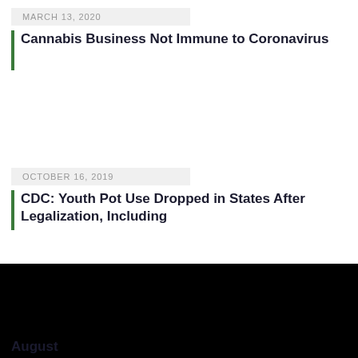MARCH 13, 2020
Cannabis Business Not Immune to Coronavirus
OCTOBER 16, 2019
CDC: Youth Pot Use Dropped in States After Legalization, Including
[Figure (screenshot): Black video player with white play button triangle in center]
August